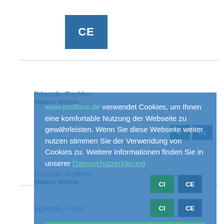[Figure (logo): CE logo — white letters 'CE' on blue square background]
Edwards, Rauldon
Watson Marlow
Edwards, Matthew
Watson Marlow
www.profibus.de verwendet Cookies, um Ihnen eine komfortable Nutzung der Webseite zu gewährleisten. Wenn Sie diese Webseite weiter nutzen stimmen Sie der Verwendung von Cookies zu. Weitere Informationen finden Sie in unserer Datenschutzerklärung
Verstanden
Edwards, Fraser